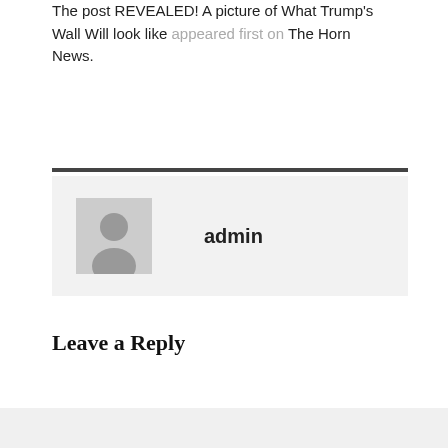The post REVEALED! A picture of What Trump's Wall Will look like appeared first on The Horn News.
admin
Leave a Reply